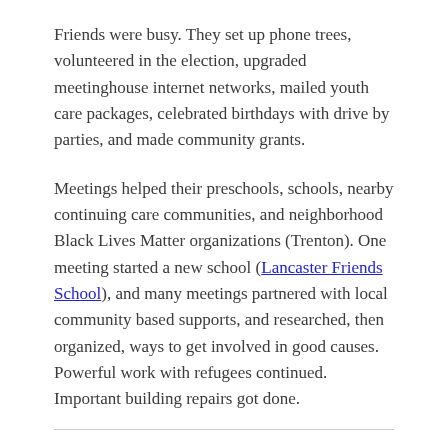Friends were busy. They set up phone trees, volunteered in the election, upgraded meetinghouse internet networks, mailed youth care packages, celebrated birthdays with drive by parties, and made community grants.
Meetings helped their preschools, schools, nearby continuing care communities, and neighborhood Black Lives Matter organizations (Trenton). One meeting started a new school (Lancaster Friends School), and many meetings partnered with local community based supports, and researched, then organized, ways to get involved in good causes. Powerful work with refugees continued. Important building repairs got done.